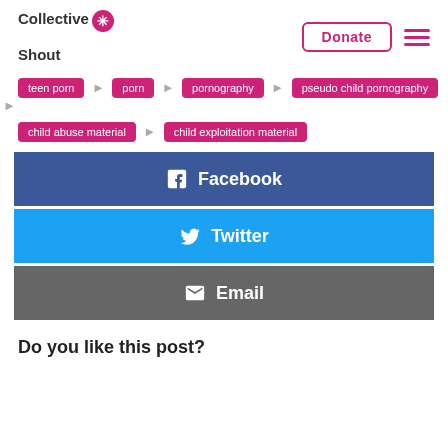Collective Shout | Donate
teen porn
porn
pornography
pseudo child pornography
child abuse material
child exploitation material
[Figure (infographic): Social share buttons: Facebook (blue), Twitter (cyan), Email (grey)]
Do you like this post?